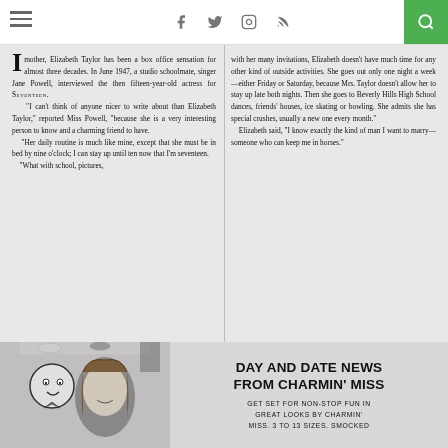Navigation bar with hamburger menu, social icons (f, twitter, instagram, rss), and search button
mother, Elizabeth Taylor has been a box office sensation for almost three decades. In June 1947, a studio schoolmate, singer Jane Powell, interviewed the then fifteen-year-old actress for SEVENTEEN. "I can't think of anyone nicer to write about than Elizabeth Taylor," reported Miss Powell, "because she is a very interesting person to know and a charming friend to have. "Her daily routine is much like mine, except that she must be in bed by nine o'clock; I can stay up until ten now that I'm seventeen. "What with school, pictures,
with her many invitations, Elizabeth doesn't have much time for any other kind of outside activities. She goes out only one night a week—either Friday or Saturday, because Mrs. Taylor doesn't allow her to stay up late both nights. Then she goes to Beverly Hills High School dances, friends' houses, ice skating or bowling. She admits she has special crushes, usually a new one every month." Elizabeth said, "I know exactly the kind of man I want to marry—someone who can keep me in horses."
[Figure (photo): Black and white photograph of a young woman with a cartoon boy character, part of a Charmin' Miss advertisement]
DAY AND DATE NEWS FROM CHARMIN' MISS
GET SET FOR NON-STOP FUN IN GREAT LOOKS BY CHARMIN' MISS. 3 TO 13 SIZES. SMOCKED